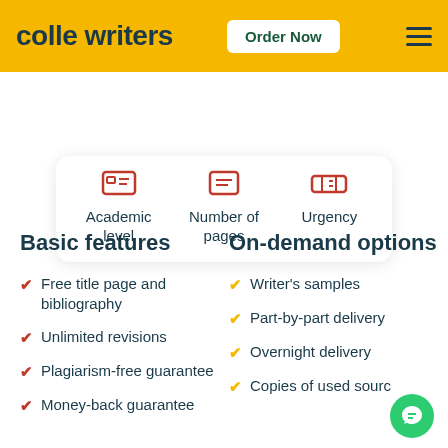colle writers   Order Now
[Figure (screenshot): Order form card showing three icons for Academic level, Number of pages, and Urgency]
Basic features
On-demand options
Free title page and bibliography
Unlimited revisions
Plagiarism-free guarantee
Money-back guarantee
Writer's samples
Part-by-part delivery
Overnight delivery
Copies of used sources